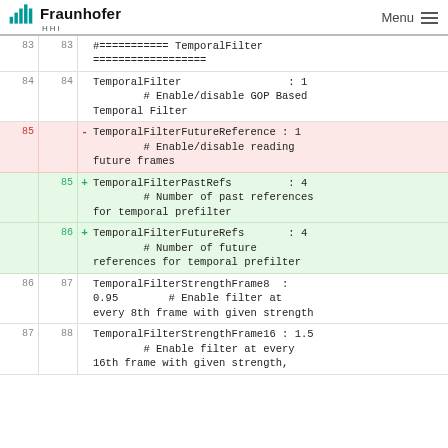Fraunhofer HHI | Menu
| Old | New | +/- | Code |
| --- | --- | --- | --- |
| 83 | 83 |  | #=========== TemporalFilter
                  ================== |
| 84 | 84 |  | TemporalFilter                 : 1
                  # Enable/disable GOP Based
                  Temporal Filter |
| 85 |  | - | TemporalFilterFutureReference : 1
                  # Enable/disable reading
                  future frames |
|  | 85 | + | TemporalFilterPastRefs          : 4
                  # Number of past references
                  for temporal prefilter |
|  | 86 | + | TemporalFilterFutureRefs        : 4
                  # Number of future
                  references for temporal prefilter |
| 86 | 87 |  | TemporalFilterStrengthFrame8  :
                  0.95        # Enable filter at
                  every 8th frame with given strength |
| 87 | 88 |  | TemporalFilterStrengthFrame16 : 1.5
                  # Enable filter at every
                  16th frame with given strength, |